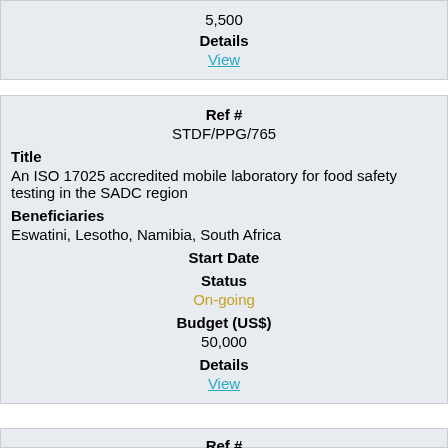5,500
Details
View
Ref #
STDF/PPG/765
Title
An ISO 17025 accredited mobile laboratory for food safety testing in the SADC region
Beneficiaries
Eswatini, Lesotho, Namibia, South Africa
Start Date
Status
On-going
Budget (US$)
50,000
Details
View
Ref #